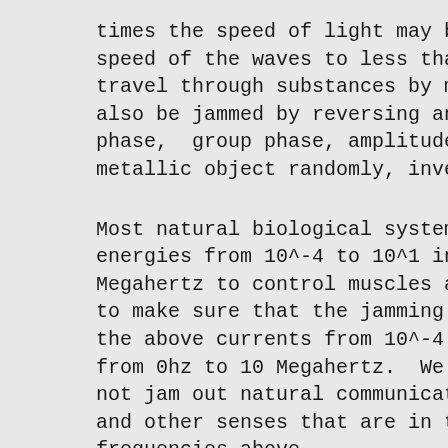times the speed of light may be jammed an speed of the waves to less than the speed travel through substances by means of pho also be jammed by reversing and alternati phase,  group phase, amplitude, time, and metallic object randomly, inversely, and
Most natural biological systems use low c energies from 10^-4 to 10^1 in the freque Megahertz to control muscles and other bi to make sure that the jamming energy freq the above currents from 10^-4 to 10^-1 an from 0hz to 10 Megahertz.  We also may ne not jam out natural communication frequen and other senses that are in the range of frequencies above.